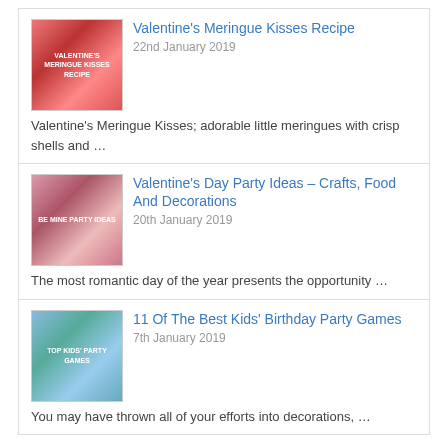Valentine's Meringue Kisses Recipe
22nd January 2019
Valentine's Meringue Kisses; adorable little meringues with crisp shells and …
Valentine's Day Party Ideas – Crafts, Food And Decorations
20th January 2019
The most romantic day of the year presents the opportunity …
11 Of The Best Kids' Birthday Party Games
7th January 2019
You may have thrown all of your efforts into decorations, …
WORK WITH US!